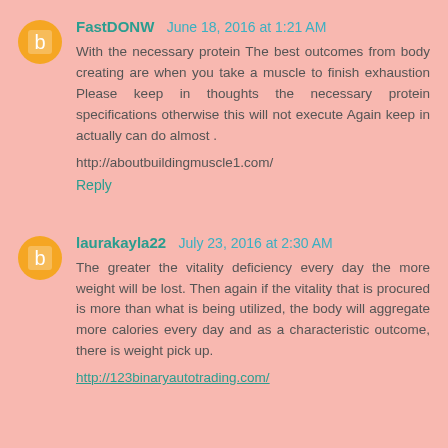FastDONW  June 18, 2016 at 1:21 AM
With the necessary protein The best outcomes from body creating are when you take a muscle to finish exhaustion Please keep in thoughts the necessary protein specifications otherwise this will not execute Again keep in actually can do almost .

http://aboutbuildingmuscle1.com/
Reply
laurakayla22  July 23, 2016 at 2:30 AM
The greater the vitality deficiency every day the more weight will be lost. Then again if the vitality that is procured is more than what is being utilized, the body will aggregate more calories every day and as a characteristic outcome, there is weight pick up.

http://123binaryautotrading.com/